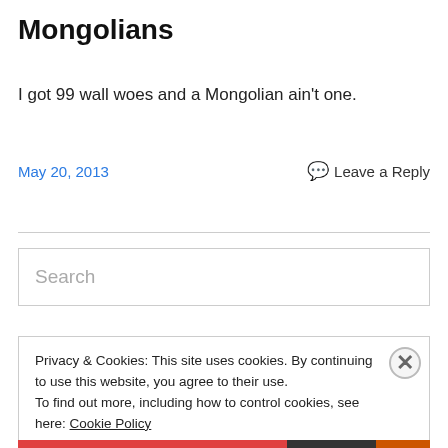Mongolians
I got 99 wall woes and a Mongolian ain't one.
May 20, 2013   💬 Leave a Reply
[Figure (screenshot): Search input box with placeholder text 'Search']
Privacy & Cookies: This site uses cookies. By continuing to use this website, you agree to their use.
To find out more, including how to control cookies, see here: Cookie Policy
Close and accept